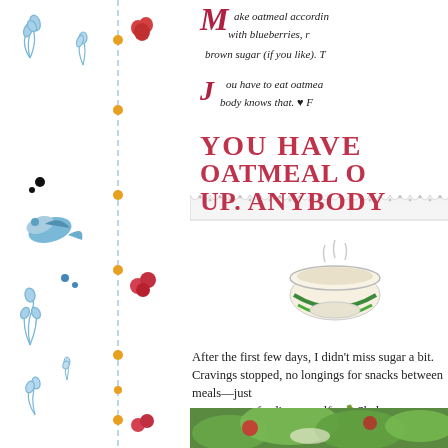[Figure (illustration): Left decorative floral border with blue botanical motifs, red berries/hearts, blue birds, and small orange/gold dots along a dashed vertical line]
[Figure (illustration): Decorative recipe card with scalloped lace border. Top section: cursive/script text beginning with decorative red M: 'Make oatmeal according to directions, with blueberries, r... brown sugar (if you like). T...' Second line with decorative J: 'You have to eat oatmea... body knows that. ♥ F...' Large decorative red text: 'YOU HAVE OATMEAL O... UP. ANYBODY...' with illustration of a bowl of oatmeal with green stripes]
After the first few days, I didn't miss sugar a b... stopped, no longings for snacks between meals... feeding myself. 🥕 Shal...
[Figure (photo): Close-up photo of a salad with green lettuce and red tomatoes]